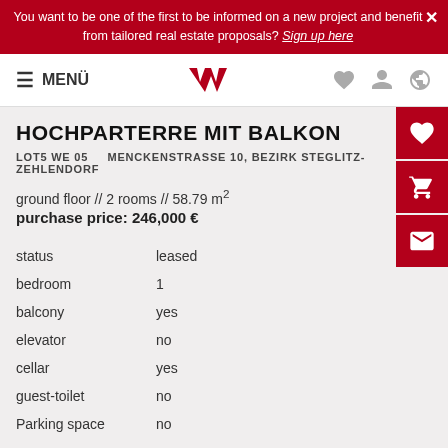You want to be one of the first to be informed on a new project and benefit from tailored real estate proposals? Sign up here
HOCHPARTERRE MIT BALKON
LOT5 WE 05   MENCKENSTRASSE 10, BEZIRK STEGLITZ-ZEHLENDORF
ground floor // 2 rooms // 58.79 m²
purchase price: 246,000 €
|  |  |
| --- | --- |
| status | leased |
| bedroom | 1 |
| balcony | yes |
| elevator | no |
| cellar | yes |
| guest-toilet | no |
| Parking space | no |